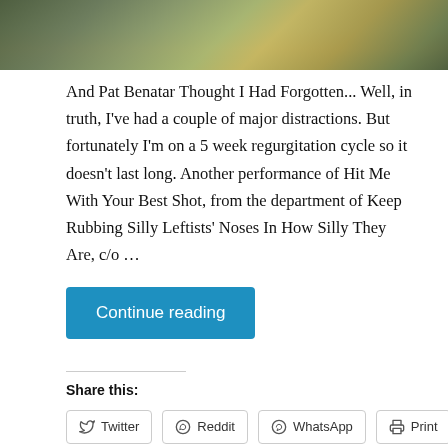[Figure (photo): Partial photograph showing a mossy or lichen-covered branch or log against a blurred forest background.]
And Pat Benatar Thought I Had Forgotten... Well, in truth, I've had a couple of major distractions. But fortunately I'm on a 5 week regurgitation cycle so it doesn't last long. Another performance of Hit Me With Your Best Shot, from the department of Keep Rubbing Silly Leftists' Noses In How Silly They Are, c/o …
Continue reading
Share this:
Twitter
Reddit
WhatsApp
Print